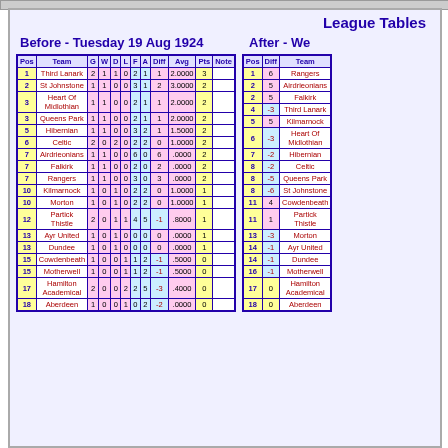League Tables
Before - Tuesday 19 Aug 1924
After - We...
| Pos | Team | G | W | D | L | F | A | Diff | Avg | Pts | Note |
| --- | --- | --- | --- | --- | --- | --- | --- | --- | --- | --- | --- |
| 1 | Third Lanark | 2 | 1 | 1 | 0 | 2 | 1 | 1 | 2.0000 | 3 |  |
| 2 | St Johnstone | 1 | 1 | 0 | 0 | 3 | 1 | 2 | 3.0000 | 2 |  |
| 3 | Heart Of Midlothian | 1 | 1 | 0 | 0 | 2 | 1 | 1 | 2.0000 | 2 |  |
| 3 | Queens Park | 1 | 1 | 0 | 0 | 2 | 1 | 1 | 2.0000 | 2 |  |
| 5 | Hibernian | 1 | 1 | 0 | 0 | 3 | 2 | 1 | 1.5000 | 2 |  |
| 6 | Celtic | 2 | 0 | 2 | 0 | 2 | 2 | 0 | 1.0000 | 2 |  |
| 7 | Airdrieonians | 1 | 1 | 0 | 0 | 6 | 0 | 6 | .0000 | 2 |  |
| 7 | Falkirk | 1 | 1 | 0 | 0 | 2 | 0 | 2 | .0000 | 2 |  |
| 7 | Rangers | 1 | 1 | 0 | 0 | 3 | 0 | 3 | .0000 | 2 |  |
| 10 | Kilmarnock | 1 | 0 | 1 | 0 | 2 | 2 | 0 | 1.0000 | 1 |  |
| 10 | Morton | 1 | 0 | 1 | 0 | 2 | 2 | 0 | 1.0000 | 1 |  |
| 12 | Partick Thistle | 2 | 0 | 1 | 1 | 4 | 5 | -1 | .8000 | 1 |  |
| 13 | Ayr United | 1 | 0 | 1 | 0 | 0 | 0 | 0 | .0000 | 1 |  |
| 13 | Dundee | 1 | 0 | 1 | 0 | 0 | 0 | 0 | .0000 | 1 |  |
| 15 | Cowdenbeath | 1 | 0 | 0 | 1 | 1 | 2 | -1 | .5000 | 0 |  |
| 15 | Motherwell | 1 | 0 | 0 | 1 | 1 | 2 | -1 | .5000 | 0 |  |
| 17 | Hamilton Academical | 2 | 0 | 0 | 2 | 2 | 5 | -3 | .4000 | 0 |  |
| 18 | Aberdeen | 1 | 0 | 0 | 1 | 0 | 2 | -2 | .0000 | 0 |  |
| Pos | Diff | Team |
| --- | --- | --- |
| 1 | 6 | Rangers |
| 2 | 5 | Airdrieonians |
| 2 | 5 | Falkirk |
| 4 | -3 | Third Lanark |
| 5 | 5 | Kilmarnock |
| 6 | -3 | Heart Of Midlothian |
| 7 | -2 | Hibernian |
| 8 | -2 | Celtic |
| 8 | -5 | Queens Park |
| 8 | -6 | St Johnstone |
| 11 | 4 | Cowdenbeath |
| 11 | 1 | Partick Thistle |
| 13 | -3 | Morton |
| 14 | -1 | Ayr United |
| 14 | -1 | Dundee |
| 16 | -1 | Motherwell |
| 17 | 0 | Hamilton Academical |
| 18 | 0 | Aberdeen |